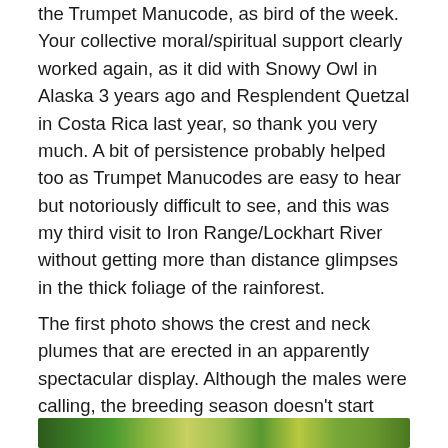the Trumpet Manucode, as bird of the week. Your collective moral/spiritual support clearly worked again, as it did with Snowy Owl in Alaska 3 years ago and Resplendent Quetzal in Costa Rica last year, so thank you very much. A bit of persistence probably helped too as Trumpet Manucodes are easy to hear but notoriously difficult to see, and this was my third visit to Iron Range/Lockhart River without getting more than distance glimpses in the thick foliage of the rainforest.
The first photo shows the crest and neck plumes that are erected in an apparently spectacular display. Although the males were calling, the breeding season doesn't start until October so I didn't see any display, though in the second photo the crest plumes are erect as the bird reaches for a fig.
[Figure (photo): Bottom strip of a photograph showing birds or nature scene in a rainforest setting, green foliage visible]